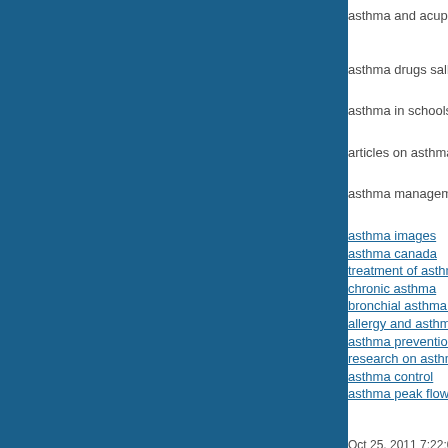asthma and acupu...
asthma drugs salb...
asthma in schools
articles on asthma
asthma manageme...
asthma images
asthma canada
treatment of asthm...
chronic asthma
bronchial asthma tr...
allergy and asthma...
asthma prevention
research on asthm...
asthma control
asthma peak flow
Oct 25, 2011 7:22:0...